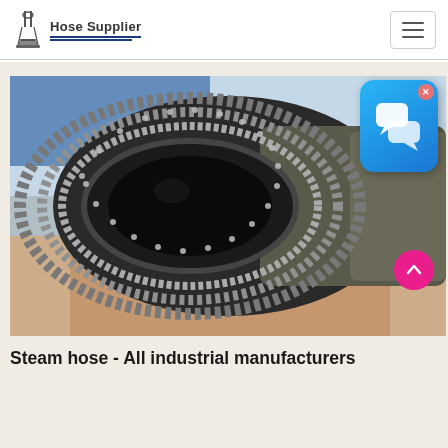Hose Supplier
[Figure (photo): Close-up photograph of the end of a black braided reinforced hydraulic/steam hose, held by a hand, showing the circular cross-section with braided wire reinforcement layers visible around the hollow center bore. Background is blurred blue and white.]
Steam hose - All industrial manufacturers